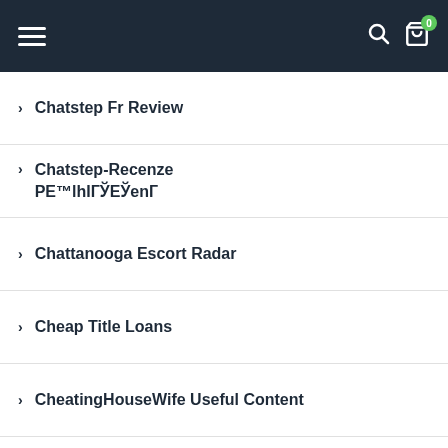Navigation header with hamburger menu, search icon, and cart (0)
Chatstep Fr Review
Chatstep-Recenze РЕ™lhIГЎЕЎenГ
Chattanooga Escort Radar
Cheap Title Loans
CheatingHouseWife Useful Content
Chechen-Dating Login
Check N Go Payday Loans
Cheekylovers Kontaktborse